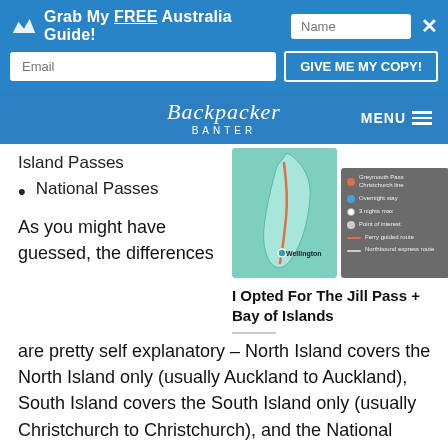Grab My FREE Australia Guide! | Name | Email | GIVE ME MY COPY!
Backpacker Banter | MENU
Island Passes
National Passes
[Figure (map): Map of New Zealand's North Island with Wellington marked and a route drawn, plus a legend showing Greymouth Pass, Overnight Stop, 3 nights max, Point of Interest, ferry guided route, Northbound express route]
I Opted For The Jill Pass + Bay of Islands
As you might have guessed, the differences are pretty self explanatory – North Island covers the North Island only (usually Auckland to Auckland), South Island covers the South Island only (usually Christchurch to Christchurch), and the National Passes cover both islands (usually Auckland to Christchurch).